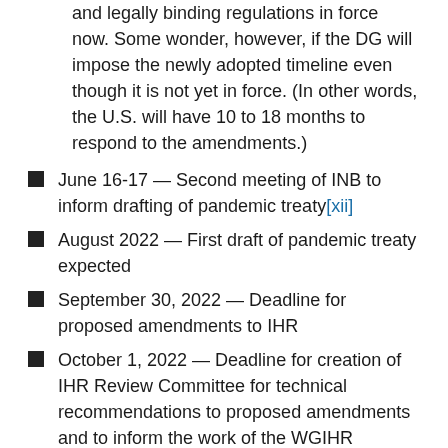and legally binding regulations in force now. Some wonder, however, if the DG will impose the newly adopted timeline even though it is not yet in force. (In other words, the U.S. will have 10 to 18 months to respond to the amendments.)
June 16-17 — Second meeting of INB to inform drafting of pandemic treaty[xii]
August 2022 — First draft of pandemic treaty expected
September 30, 2022 — Deadline for proposed amendments to IHR
October 1, 2022 — Deadline for creation of IHR Review Committee for technical recommendations to proposed amendments and to inform the work of the WGIHR
November 15, 2022 — Deadline for first meeting of WGIHR
January 15, 2023 — Proposed deadline for IHR...